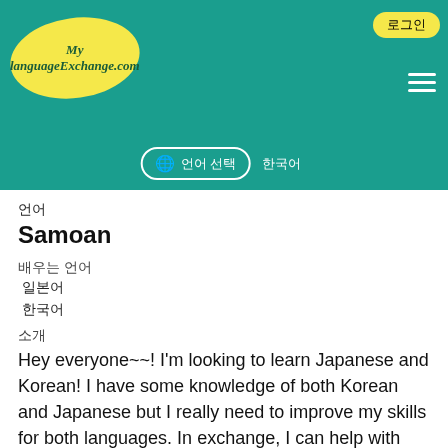[Figure (logo): MyLanguageExchange.com logo in yellow oval on teal header background]
로그인
언어
Samoan
배우는 언어
일본어
한국어
소개
Hey everyone~~! I'm looking to learn Japanese and Korean! I have some knowledge of both Korean and Japanese but I really need to improve my skills for both languages. In exchange, I can help with your English learning. I don't have any formal experience with teaching English, but as a native speaker, I can help you improve in different areas of your English learning journey! If ... See more